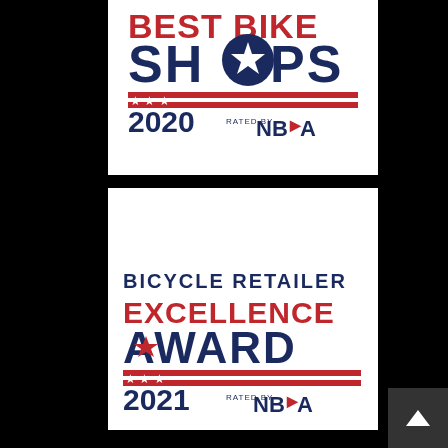[Figure (logo): Best Bike Shops 2020 badge rated by NBDA — dark navy and red text with stars and stripes decoration, circular star logo in the O of SHOPS]
[Figure (logo): Bicycle Retailer Excellence Award 2021 badge rated by NBDA — dark navy and red text with stars and stripes decoration]